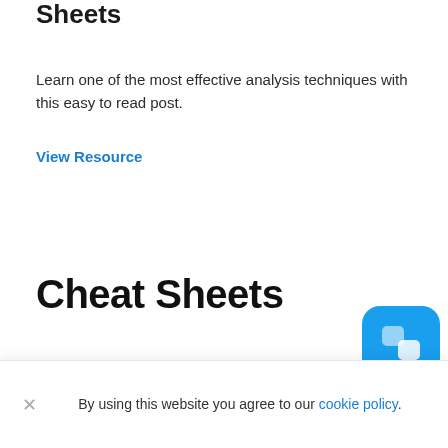Sheets
Learn one of the most effective analysis techniques with this easy to read post.
View Resource
Cheat Sheets
By using this website you agree to our cookie policy.